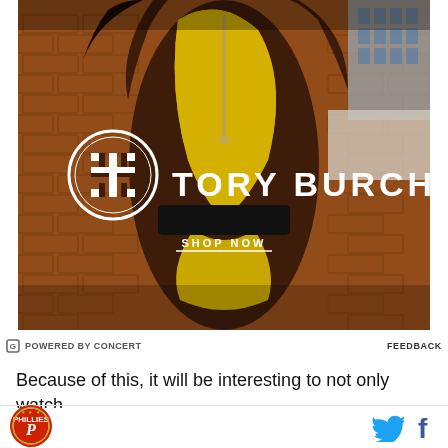[Figure (photo): Tory Burch fashion advertisement showing a model in a brown and yellow color-block athletic outfit against a brick wall background. The Tory Burch logo (ornate T cross symbol) and brand name appear in white. Below the logo is a 'SHOP NOW' call to action with an underline.]
POWERED BY CONCERT
FEEDBACK
Because of this, it will be interesting to not only watch
[Figure (logo): Philadelphia Phillies baseball team logo]
[Figure (logo): Twitter (X) bird icon and Facebook f icon for social sharing]